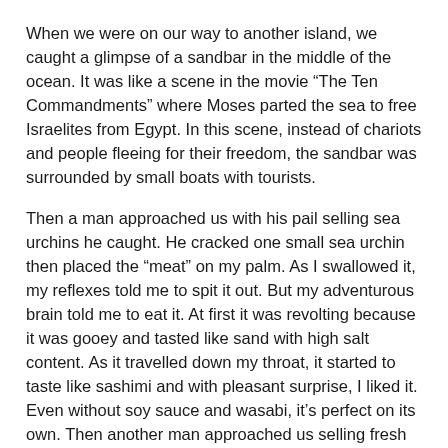When we were on our way to another island, we caught a glimpse of a sandbar in the middle of the ocean. It was like a scene in the movie “The Ten Commandments” where Moses parted the sea to free Israelites from Egypt. In this scene, instead of chariots and people fleeing for their freedom, the sandbar was surrounded by small boats with tourists.
Then a man approached us with his pail selling sea urchins he caught. He cracked one small sea urchin then placed the “meat” on my palm. As I swallowed it, my reflexes told me to spit it out. But my adventurous brain told me to eat it. At first it was revolting because it was gooey and tasted like sand with high salt content. As it travelled down my throat, it started to taste like sashimi and with pleasant surprise, I liked it. Even without soy sauce and wasabi, it’s perfect on its own. Then another man approached us selling fresh coconuts. He cracked one open and provided us straw for us to drink the sweet and refreshing juice. What could be fresher than that?